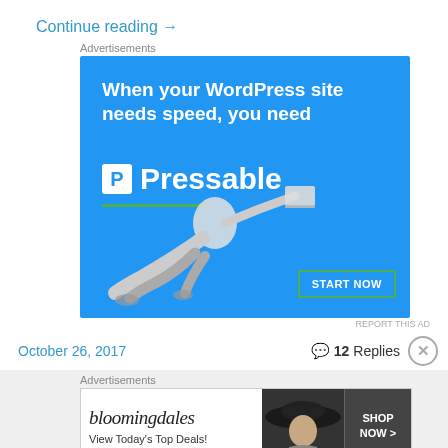Continue reading →
Advertisements
[Figure (illustration): Pressable WordPress hosting advertisement. Blue background with white bold text 'When your WordPress site needs speed, you need Pressable', a green underline, a person flying horizontally holding a laptop, and a 'START NOW' button with green border.]
REPORT THIS AD
October 26, 2017
💬 12 Replies
Advertisements
[Figure (illustration): Bloomingdale's advertisement banner. White background with 'bloomingdales' in italic serif font, 'View Today's Top Deals!' text, a woman with wide brim hat image, and 'SHOP NOW >' button.]
REPORT THIS AD